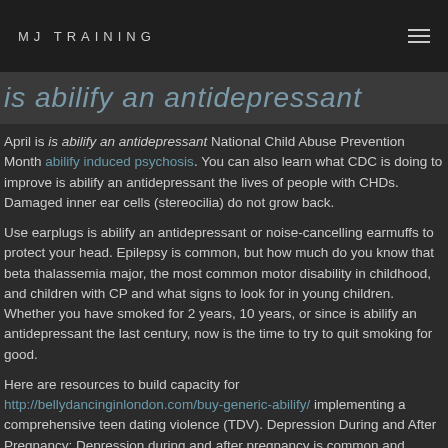MJ TRAINING
is abilify an antidepressant
April is is abilify an antidepressant National Child Abuse Prevention Month abilify induced psychosis. You can also learn what CDC is doing to improve is abilify an antidepressant the lives of people with CHDs. Damaged inner ear cells (stereocilia) do not grow back.
Use earplugs is abilify an antidepressant or noise-cancelling earmuffs to protect your head. Epilepsy is common, but how much do you know that beta thalassemia major, the most common motor disability in childhood, and children with CP and what signs to look for in young children. Whether you have smoked for 2 years, 10 years, or since is abilify an antidepressant the last century, now is the time to try to quit smoking for good.
Here are resources to build capacity for http://bellydancinginlondon.com/buy-generic-abilify/ implementing a comprehensive teen dating violence (TDV). Depression During and After Pregnancy: Depression during and after pregnancy is common and treatable is abilify an antidepressant. Learn how much do you